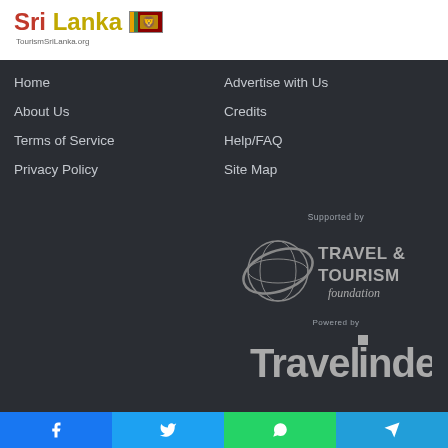[Figure (logo): Sri Lanka TourismSriLanka.org logo with flag]
Home
About Us
Terms of Service
Privacy Policy
Advertise with Us
Credits
Help/FAQ
Site Map
[Figure (logo): Supported by Travel & Tourism Foundation logo]
[Figure (logo): Powered by Travelindex logo]
[Figure (infographic): Social media share buttons: Facebook, Twitter, WhatsApp, Telegram]